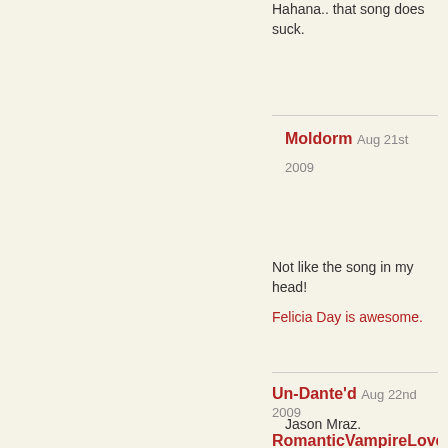Hahana.. that song does suck.
Moldorm Aug 21st 2009
Not like the song in my head!
Felicia Day is awesome.
Un-Dante'd Aug 22nd 2009
Jason Mraz.
RomanticVampireLover Aug